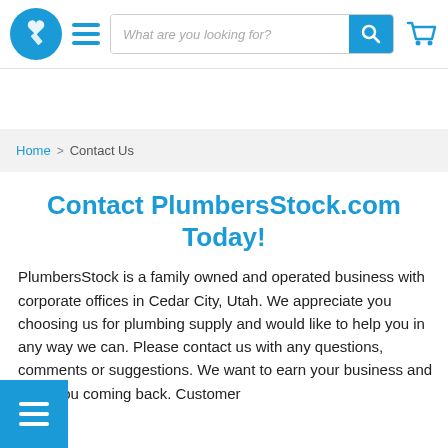[Figure (logo): PlumbersStock logo: blue circle with white wrench/heart icon]
[Figure (screenshot): Navigation bar with hamburger menu, search bar with placeholder 'What are you looking for?', search button, and cart icon]
Home > Contact Us
Contact PlumbersStock.com Today!
PlumbersStock is a family owned and operated business with corporate offices in Cedar City, Utah. We appreciate you choosing us for plumbing supply and would like to help you in any way we can. Please contact us with any questions, comments or suggestions. We want to earn your business and keep you coming back. Customer